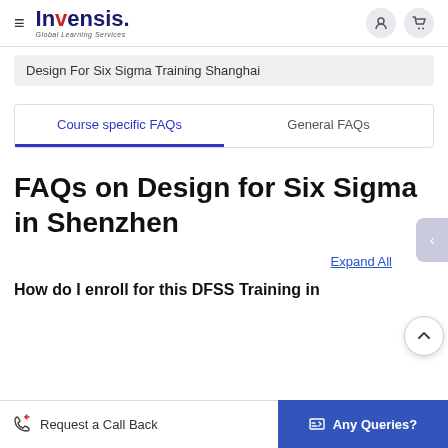[Figure (logo): Invensis Global Learning Services logo with hamburger menu icon on left and user/cart icons on right]
Design For Six Sigma Training Shanghai
Course specific FAQs	General FAQs
FAQs on Design for Six Sigma in Shenzhen
Expand All
How do I enroll for this DFSS Training in
Request a Call Back
Any Queries?